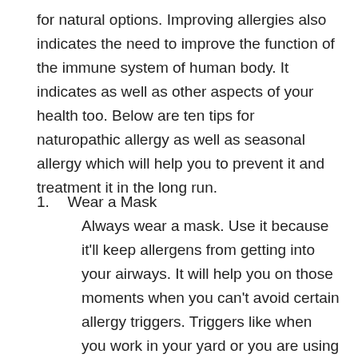for natural options.  Improving allergies also indicates the need to improve the function of the immune system of human body. It indicates as well as other aspects of your health too. Below are ten tips for naturopathic allergy as well as seasonal allergy which will help you to prevent it and treatment it in the long run.
1.  Wear a Mask
Always wear a mask. Use it because it'll keep allergens from getting into your airways. It will help you on those moments when you can't avoid certain allergy triggers. Triggers like when you work in your yard or you are using vacuum to clean up your home. An N95 respirator mask is very beneficial to protect you from allergic elements. This mask is available at most drugstores